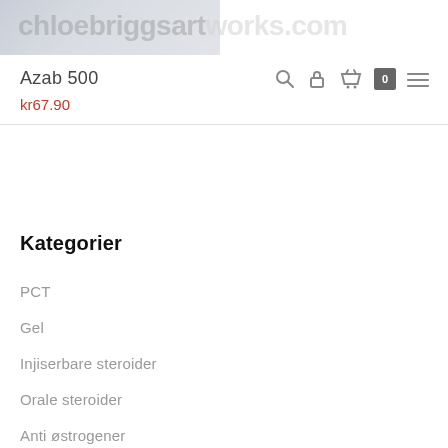[Figure (photo): Partially visible product image in top left corner with a faded watermark overlay]
chloebriggsartworks.com
Azab 500
kr67.90
Kategorier
PCT
Gel
Injiserbare steroider
Orale steroider
Anti østrogener